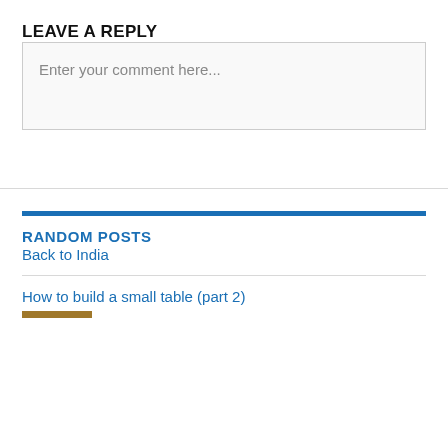LEAVE A REPLY
Enter your comment here...
RANDOM POSTS
Back to India
How to build a small table (part 2)